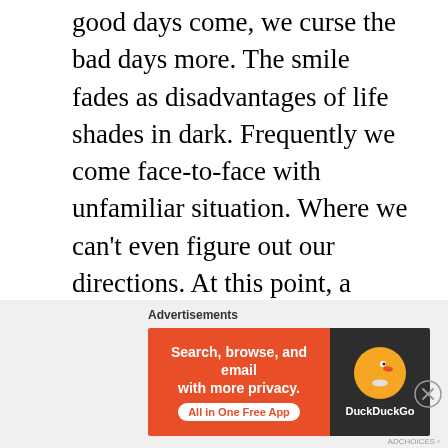good days come, we curse the bad days more. The smile fades as disadvantages of life shades in dark. Frequently we come face-to-face with unfamiliar situation. Where we can't even figure out our directions. At this point, a dazzling soulful belief plays a great role in our lives in that it adds immeasurable hope to our struggle.
Dealing with such tough spots takes thought and planning and at that time we need some pointers to a future line of action. We are like the freshly hatched baby turtles caught in the
[Figure (other): DuckDuckGo advertisement banner: orange left side with text 'Search, browse, and email with more privacy.' and 'All in One Free App' button, dark right side with DuckDuckGo duck logo. Label above says 'Advertisements'.]